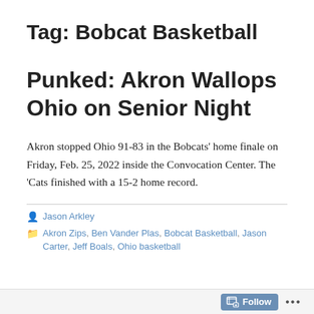Tag: Bobcat Basketball
Punked: Akron Wallops Ohio on Senior Night
Akron stopped Ohio 91-83 in the Bobcats' home finale on Friday, Feb. 25, 2022 inside the Convocation Center. The 'Cats finished with a 15-2 home record.
Jason Arkley
Akron Zips, Ben Vander Plas, Bobcat Basketball, Jason Carter, Jeff Boals, Ohio basketball
Follow